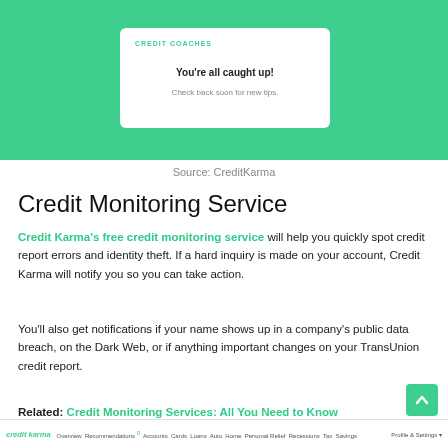[Figure (screenshot): Screenshot of Credit Karma interface showing a green background with 'CREDIT COACHES' label and a white card saying 'You're all caught up! Check back soon for new tips.']
Source: CreditKarma
Credit Monitoring Service
Credit Karma's free credit monitoring service will help you quickly spot credit report errors and identity theft. If a hard inquiry is made on your account, Credit Karma will notify you so you can take action.
You'll also get notifications if your name shows up in a company's public data breach, on the Dark Web, or if anything important changes on your TransUnion credit report.
Related: Credit Monitoring Services: All You Need to Know
credit karma  Overview  Recommendations  Accounts  Cards  Loans  Auto  Home  Personal Relief  Recessions  Tax  Savings  Profile & Settings